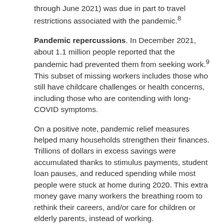through June 2021) was due in part to travel restrictions associated with the pandemic.⁸
Pandemic repercussions. In December 2021, about 1.1 million people reported that the pandemic had prevented them from seeking work.⁹ This subset of missing workers includes those who still have childcare challenges or health concerns, including those who are contending with long-COVID symptoms.
On a positive note, pandemic relief measures helped many households strengthen their finances. Trillions of dollars in excess savings were accumulated thanks to stimulus payments, student loan pauses, and reduced spending while most people were stuck at home during 2020. This extra money gave many workers the breathing room to rethink their careers, and/or care for children or elderly parents, instead of working.
Economic Effects